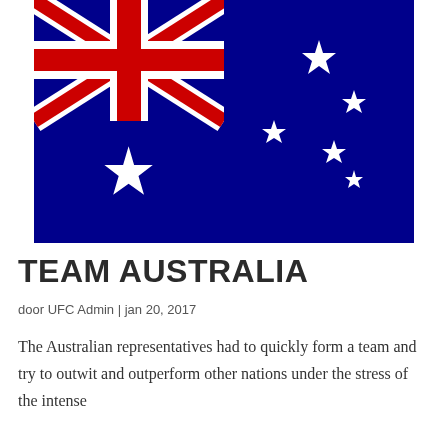[Figure (illustration): Australian flag — dark blue background with Union Jack in top-left canton, Commonwealth Star (7-pointed) below Union Jack, and Southern Cross constellation (five white stars) on the right half.]
TEAM AUSTRALIA
door UFC Admin | jan 20, 2017
The Australian representatives had to quickly form a team and try to outwit and outperform other nations under the stress of the intense